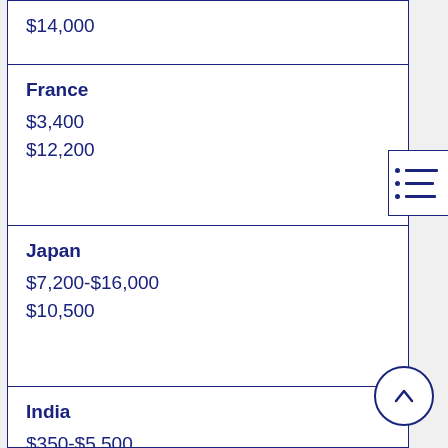| Country | Range | Average |
| --- | --- | --- |
|  | $14,000 |  |
| France | $3,400 | $12,200 |
| Japan | $7,200-$16,000 | $10,500 |
| India | $350-$5,500 | $4,600 |